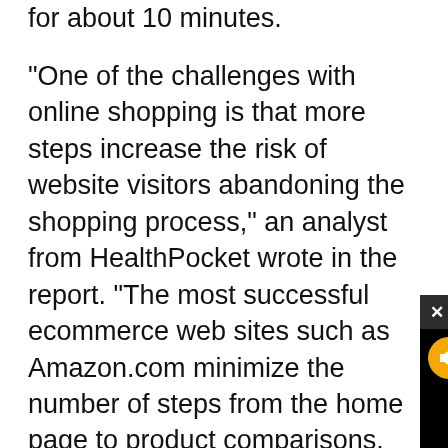for about 10 minutes.
“One of the challenges with online shopping is that more steps increase the risk of website visitors abandoning the shopping process,” an analyst from HealthPocket wrote in the report. “The most successful ecommerce web sites such as Amazon.com minimize the number of steps from the home page to product comparisons. On Amazon’s website, a consumer can sho[p and compare in] two steps. Howeve[r, many of] the exchanges hav[e more steps than] Amazon does not: [meaning health] insurance can resu[lt in...]
[Figure (screenshot): Video popup overlay with title 'Blumenthal, Larson Tout Energy Inv...' and a close button X. The popup shows a black video player area with a muted button (orange circle with muted speaker icon) and a loading spinner (teal/blue arc on black background).]